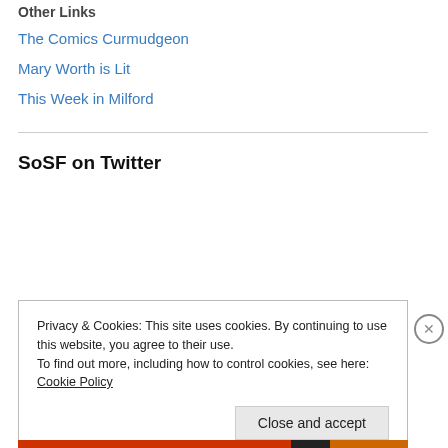Other Links
The Comics Curmudgeon
Mary Worth is Lit
This Week in Milford
SoSF on Twitter
Privacy & Cookies: This site uses cookies. By continuing to use this website, you agree to their use.
To find out more, including how to control cookies, see here: Cookie Policy
Close and accept